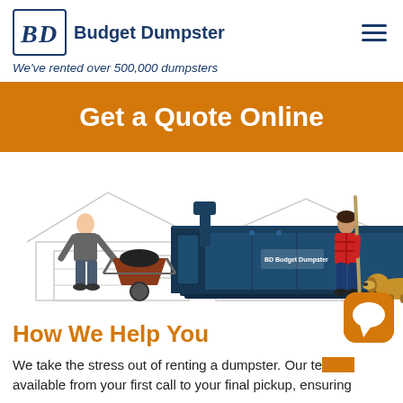Budget Dumpster – We've rented over 500,000 dumpsters
Get a Quote Online
[Figure (photo): Photo of two people and a dog next to a large blue Budget Dumpster roll-off container in a driveway, with a line-drawing illustration of a house in the background. One person pushes a wheelbarrow, the other holds a broom.]
How We Help You
We take the stress out of renting a dumpster. Our team is available from your first call to your final pickup, ensuring